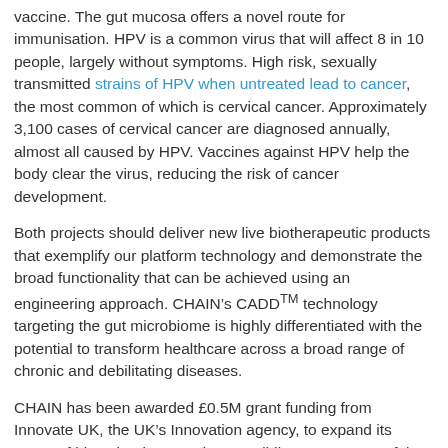vaccine. The gut mucosa offers a novel route for immunisation. HPV is a common virus that will affect 8 in 10 people, largely without symptoms. High risk, sexually transmitted strains of HPV when untreated lead to cancer, the most common of which is cervical cancer. Approximately 3,100 cases of cervical cancer are diagnosed annually, almost all caused by HPV. Vaccines against HPV help the body clear the virus, reducing the risk of cancer development.
Both projects should deliver new live biotherapeutic products that exemplify our platform technology and demonstrate the broad functionality that can be achieved using an engineering approach. CHAIN’s CADD™ technology targeting the gut microbiome is highly differentiated with the potential to transform healthcare across a broad range of chronic and debilitating diseases.
CHAIN has been awarded £0.5M grant funding from Innovate UK, the UK’s Innovation agency, to expand its range of biotechnology products. Building on a successful synthetic biology program, the grants support further development of CHAIN’s proprietary Clostridium platform for therapeutic and specialty chemical applications.